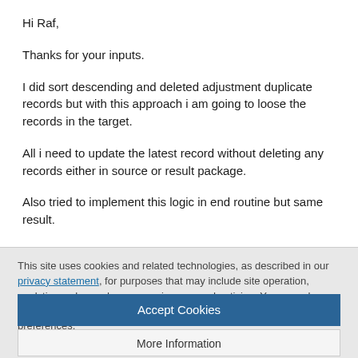Hi Raf,
Thanks for your inputs.
I did sort descending and deleted adjustment duplicate records but with this approach i am going to loose the records in the target.
All i need to update the latest record without deleting any records either in source or result package.
Also tried to implement this logic in end routine but same result.
This site uses cookies and related technologies, as described in our privacy statement, for purposes that may include site operation, analytics, enhanced user experience, or advertising. You may choose to consent to our use of these technologies, or manage your own preferences.
Accept Cookies
More Information
Privacy Policy | Powered by: TrustArc